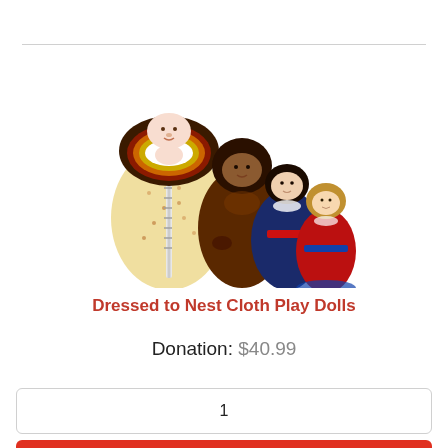[Figure (illustration): Four nesting cloth dolls of different sizes and cultural costumes, arranged in descending height order. The largest has a floral fabric body with a rainbow motif at the top. Subsequent dolls show different hair and dress colors.]
Dressed to Nest Cloth Play Dolls
Donation: $40.99
1